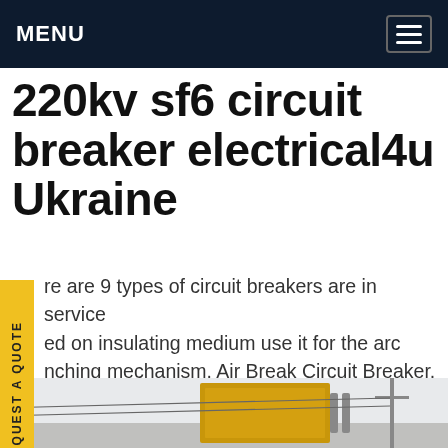MENU
220kv sf6 circuit breaker electrical4u Ukraine
There are 9 types of circuit breakers are in service based on insulating medium use it for the arc quenching mechanism. Air Break Circuit Breaker. Gas Circuit Breakers. Oil circuit breakers. Minimum oil circuit breaker. Vacuum Circuit Breakers. Miniature Circuit Breakers. sf 6 Circuit Breakers. Earth leakage Circuit Breakers.Get price
[Figure (photo): Outdoor industrial electrical equipment, possibly a yellow transformer or circuit breaker cabinet on a truck or outdoor installation, with utility poles in background]